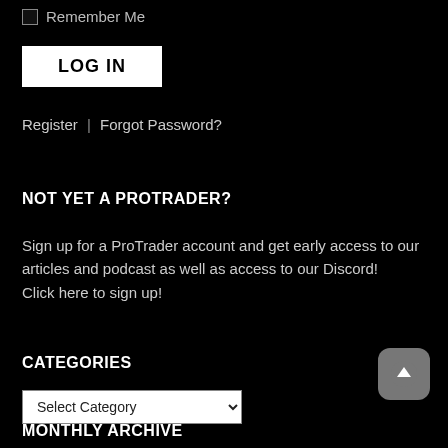Remember Me
LOG IN
Register  |  Forgot Password?
NOT YET A PROTRADER?
Sign up for a ProTrader account and get early access to our articles and podcast as well as access to our Discord! Click here to sign up!
CATEGORIES
Select Category
MONTHLY ARCHIVE